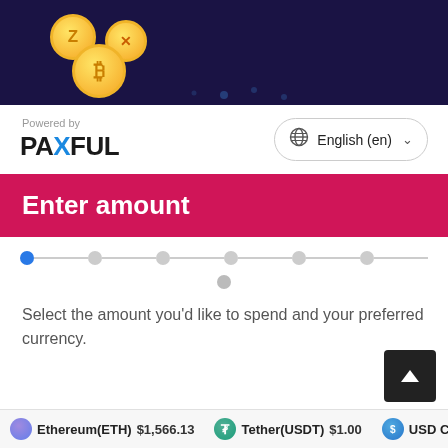[Figure (illustration): Dark navy background with golden cryptocurrency coins (Z coin, X/Ripple coin, Bitcoin coin) floating]
Powered by
[Figure (logo): PAXFUL logo with blue X]
English (en)
Enter amount
[Figure (infographic): Step progress indicator with 6 dots connected by lines, first dot is blue/active, rest are grey]
Select the amount you'd like to spend and your preferred currency.
Ethereum(ETH) $1,566.13   Tether(USDT) $1.00   USD C